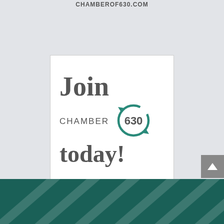chamberof630.com
[Figure (logo): Chamber630 join today advertisement banner. White background box containing text 'Join' in large serif font, 'CHAMBER 630' with a teal circular arrow logo, and 'today!' in large serif font. Teal and gray color scheme.]
[Figure (other): Dark teal footer bar with subtle diagonal line pattern texture.]